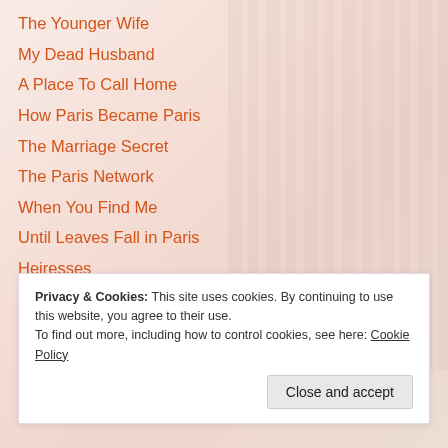The Younger Wife
My Dead Husband
A Place To Call Home
How Paris Became Paris
The Marriage Secret
The Paris Network
When You Find Me
Until Leaves Fall in Paris
Heiresses
Passerby
The Married Girls
Privacy & Cookies: This site uses cookies. By continuing to use this website, you agree to their use.
To find out more, including how to control cookies, see here: Cookie Policy
Close and accept